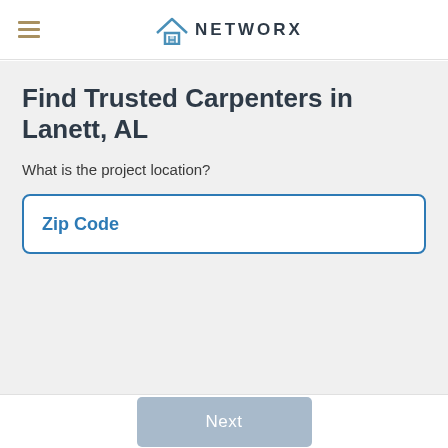NETWORX
Find Trusted Carpenters in Lanett, AL
What is the project location?
Zip Code
Next